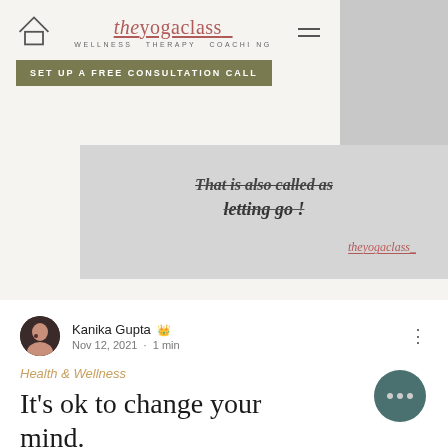[Figure (screenshot): Website navigation bar for theyogaclass with home icon, logo, hamburger menu, tagline 'WELLNESS. THERAPY. COACHING.' and CTA button 'SET UP A FREE CONSULTATION CALL']
[Figure (infographic): Motivational quote card on grey background with text 'That is also called as letting go!' and theyogaclass brand watermark]
Kanika Gupta 👑
Nov 12, 2021 · 1 min
Health & Wellness
It's ok to change your mind.
It's ok to change your mind. Growth mind...
4  0